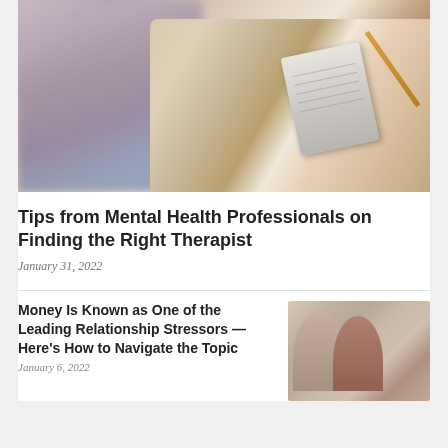[Figure (photo): A therapist's hand holding a pencil over a notepad, with a blurred patient sitting in the background]
Tips from Mental Health Professionals on Finding the Right Therapist
January 31, 2022
Money Is Known as One of the Leading Relationship Stressors — Here's How to Navigate the Topic
[Figure (photo): A couple sitting together looking stressed, reviewing financial documents]